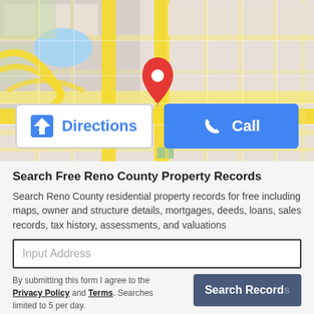[Figure (map): Street map showing a location pin (red marker) on a city grid with yellow roads and green park areas, with a blue oval water body in the upper left.]
Directions
Call
Search Free Reno County Property Records
Search Reno County residential property records for free including maps, owner and structure details, mortgages, deeds, loans, sales records, tax history, assessments, and valuations
Input Address
By submitting this form I agree to the Privacy Policy and Terms. Searches limited to 5 per day.
Search Records